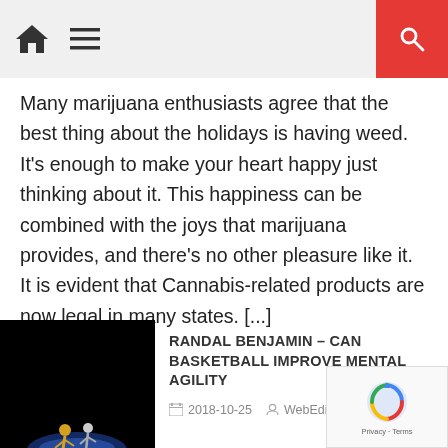Home | Menu | Search
Many marijuana enthusiasts agree that the best thing about the holidays is having weed. It’s enough to make your heart happy just thinking about it. This happiness can be combined with the joys that marijuana provides, and there’s no other pleasure like it. It is evident that Cannabis-related products are now legal in many states. [...]
[Figure (photo): Basketball player with glowing light effect on dark background]
RANDAL BENJAMIN – CAN BASKETBALL IMPROVE MENTAL AGILITY
2018-10-25   WebEditor
[Figure (photo): Person holding a mobile phone displaying a city game]
CITYVILLE ASSIST INFORMATION – FOR SEVERE CITYVILLE RECREATION GAMERS
2018-09-15   WebEditor
[Figure (photo): Game controller on dark background]
CHRISTMAS 2009 – ONE HIGH CONCEPT